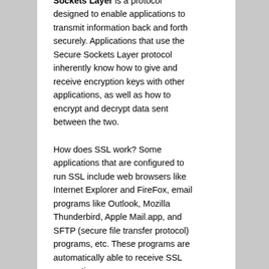Sockets Layer is a protocol designed to enable applications to transmit information back and forth securely. Applications that use the Secure Sockets Layer protocol inherently know how to give and receive encryption keys with other applications, as well as how to encrypt and decrypt data sent between the two.
How does SSL work? Some applications that are configured to run SSL include web browsers like Internet Explorer and FireFox, email programs like Outlook, Mozilla Thunderbird, Apple Mail.app, and SFTP (secure file transfer protocol) programs, etc. These programs are automatically able to receive SSL connections.